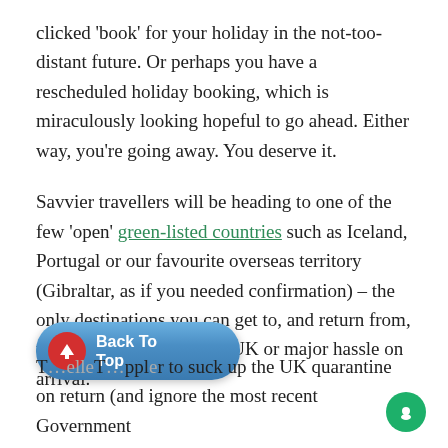clicked 'book' for your holiday in the not-too-distant future. Or perhaps you have a rescheduled holiday booking, which is miraculously looking hopeful to go ahead. Either way, you're going away. You deserve it.
Savvier travellers will be heading to one of the few 'open' green-listed countries such as Iceland, Portugal or our favourite overseas territory (Gibraltar, as if you needed confirmation) – the only destinations you can get to, and return from, without quarantine in the UK or major hassle on arrival.
[Figure (other): Back To Top button — a pill-shaped blue button with a red circular icon containing an upward arrow, and white bold text reading 'Back To Top']
T...eller to suck up the UK quarantine on return (and ignore the most recent Government...